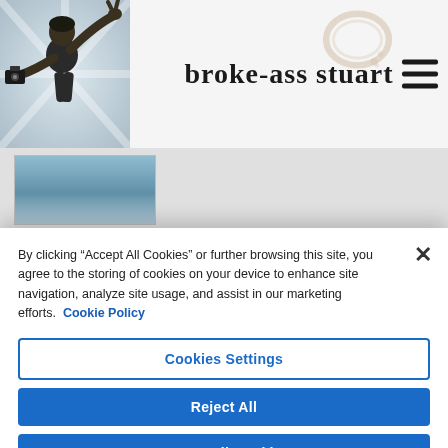[Figure (screenshot): Broke-Ass Stuart website header with photo of man gesturing, site logo text, coffee stain graphic, and hamburger menu icon]
broke-ass stuart
[Figure (photo): Thumbnail image of article with blue/water scene]
[Figure (photo): Dark thumbnail image for article 'We're All Going To Die']
WE'RE ALL GOING TO DIE
♡ 5
By clicking “Accept All Cookies” or further browsing this site, you agree to the storing of cookies on your device to enhance site navigation, analyze site usage, and assist in our marketing efforts. Cookie Policy
Cookies Settings
Reject All
Accept All Cookies